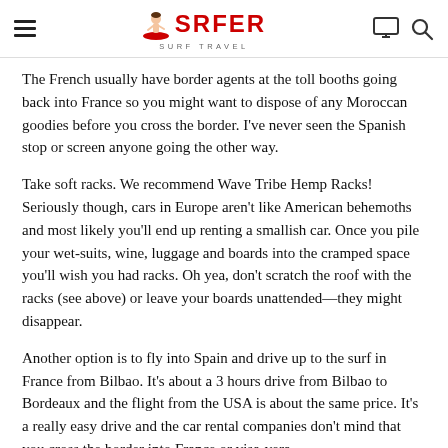SRFER SURF TRAVEL
The French usually have border agents at the toll booths going back into France so you might want to dispose of any Moroccan goodies before you cross the border. I've never seen the Spanish stop or screen anyone going the other way.
Take soft racks. We recommend Wave Tribe Hemp Racks! Seriously though, cars in Europe aren't like American behemoths and most likely you'll end up renting a smallish car. Once you pile your wet-suits, wine, luggage and boards into the cramped space you'll wish you had racks. Oh yea, don't scratch the roof with the racks (see above) or leave your boards unattended—they might disappear.
Another option is to fly into Spain and drive up to the surf in France from Bilbao. It's about a 3 hours drive from Bilbao to Bordeaux and the flight from the USA is about the same price. It's a really easy drive and the car rental companies don't mind that you cross the border into France or visa-vera.
Do you hate border crossing? Bad memories of Mexico? Well,